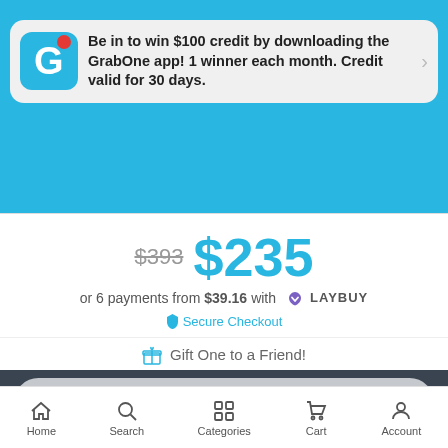Be in to win $100 credit by downloading the GrabOne app! 1 winner each month. Credit valid for 30 days.
$393  $235
or 6 payments from $39.16 with LAYBUY
Secure Checkout
Gift One to a Friend!
No longer available
Home  Search  Categories  Cart  Account